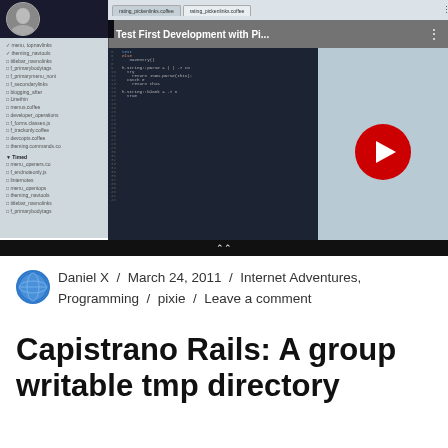[Figure (screenshot): YouTube video thumbnail showing 'Test First Development with Pi...' with a code editor visible on the left side and red YouTube play button in the center, on a blue/grey background.]
Daniel X / March 24, 2011 / Internet Adventures, Programming / pixie / Leave a comment
Capistrano Rails: A group writable tmp directory